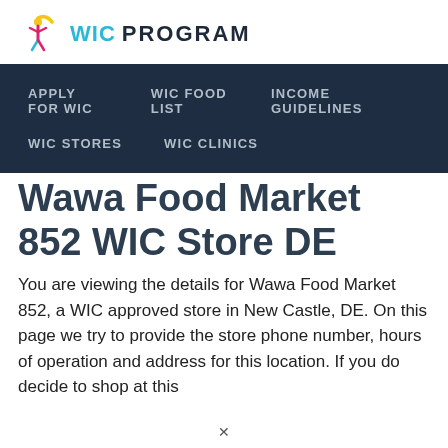WIC PROGRAM
APPLY FOR WIC
WIC FOOD LIST
INCOME GUIDELINES
WIC STORES
WIC CLINICS
Wawa Food Market 852 WIC Store DE
You are viewing the details for Wawa Food Market 852, a WIC approved store in New Castle, DE. On this page we try to provide the store phone number, hours of operation and address for this location. If you do decide to shop at this